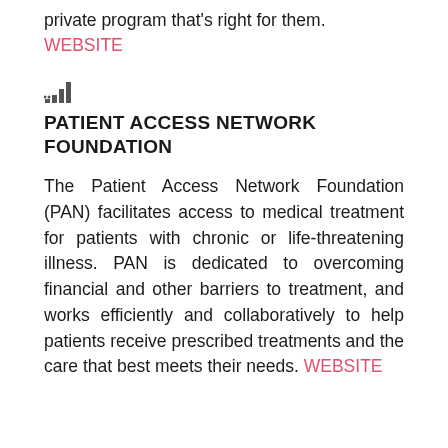private program that's right for them. WEBSITE
[Figure (other): Bar chart signal strength icon (small decorative icon with ascending bars)]
PATIENT ACCESS NETWORK FOUNDATION
The Patient Access Network Foundation (PAN) facilitates access to medical treatment for patients with chronic or life-threatening illness. PAN is dedicated to overcoming financial and other barriers to treatment, and works efficiently and collaboratively to help patients receive prescribed treatments and the care that best meets their needs. WEBSITE